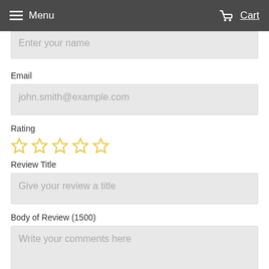Menu   Cart
Enter your name
Email
john.smith@example.com
Rating
[Figure (other): Five empty star rating icons in yellow outline]
Review Title
Give your review a title
Body of Review (1500)
Write your comments here